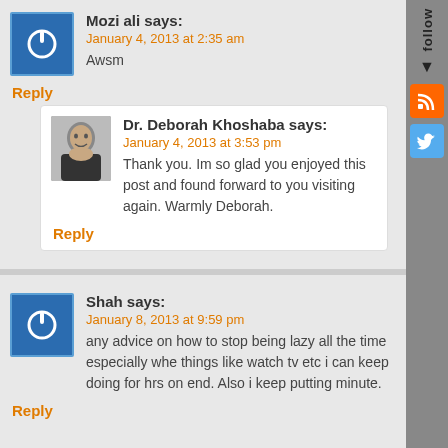Mozi ali says: January 4, 2013 at 2:35 am — Awsm
Reply
Dr. Deborah Khoshaba says: January 4, 2013 at 3:53 pm — Thank you. Im so glad you enjoyed this post and found forward to you visiting again. Warmly Deborah.
Reply
Shah says: January 8, 2013 at 9:59 pm — any advice on how to stop being lazy all the time especially whe things like watch tv etc i can keep doing for hrs on end. Also i keep putting minute.
Reply